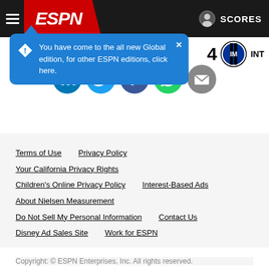ESPN — SCORES
You have come to the all new Global edition, for other ESPN editions, click here.
[Figure (screenshot): Score display showing '4' with Inter Milan badge and 'INT' label]
[Figure (screenshot): Social sharing icons row: LinkedIn, Twitter, Facebook, WhatsApp, Email]
Terms of Use   Privacy Policy
Your California Privacy Rights
Children's Online Privacy Policy   Interest-Based Ads
About Nielsen Measurement
Do Not Sell My Personal Information   Contact Us
Disney Ad Sales Site   Work for ESPN
Copyright: © ESPN Enterprises, Inc. All rights reserved.